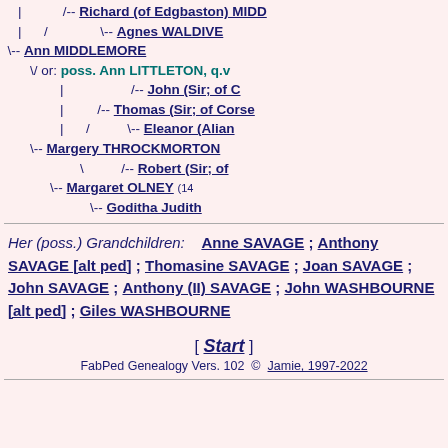[Figure (other): Genealogy tree showing ancestors including Richard (of Edgbaston) MIDD, Agnes WALDIVE, Ann MIDDLEMORE, poss. Ann LITTLETON q.v., John (Sir; of C...), Thomas (Sir; of Corse...), Eleanor (Alian...), Margery THROCKMORTON, Robert (Sir; of...), Margaret OLNEY (14...), Goditha Judith...]
Her (poss.) Grandchildren: Anne SAVAGE ; Anthony SAVAGE [alt ped] ; Thomasine SAVAGE ; Joan SAVAGE ; John SAVAGE ; Anthony (II) SAVAGE ; John WASHBOURNE [alt ped] ; Giles WASHBOURNE
[ Start ]
FabPed Genealogy Vers. 102  ©  Jamie, 1997-2022